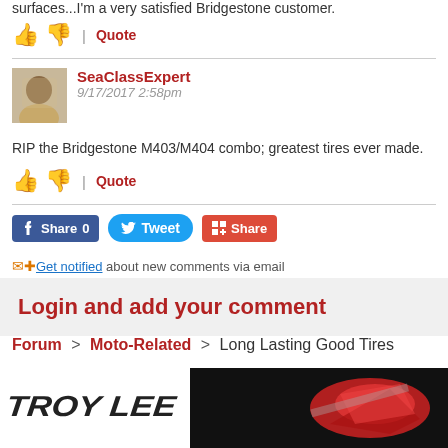surfaces...I'm a very satisfied Bridgestone customer.
👍 👎 | Quote
SeaClassExpert
9/17/2017 2:58pm
RIP the Bridgestone M403/M404 combo; greatest tires ever made.
👍 👎 | Quote
Share 0  Tweet  Share
Get notified about new comments via email
Login and add your comment
Forum > Moto-Related > Long Lasting Good Tires
[Figure (photo): Troy Lee logo and advertisement banner at the bottom of the page]